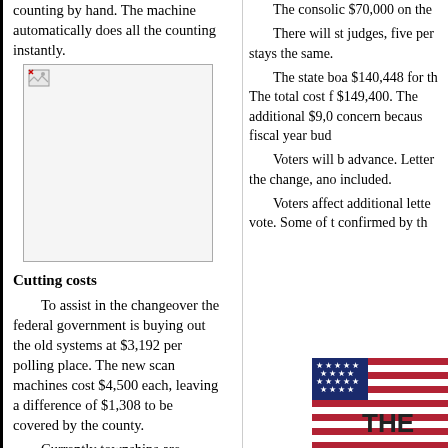counting by hand. The machine automatically does all the counting instantly.
[Figure (photo): Image placeholder (broken image icon) showing a photograph related to voting machines or polling]
Cutting costs
To assist in the changeover the federal government is buying out the old systems at $3,192 per polling place. The new scan machines cost $4,500 each, leaving a difference of $1,308 to be covered by the county.
Currently townships are subdivided into precincts, each with its own polling place in Logan County. In many places the distances between polling places are quite short. Just one optical scan machine is capable of servicing four precincts in one polling place. Because the
The consolic $70,000 on the
There will st judges, five per stays the same.
The state boa $140,448 for th The total cost f $149,400. The additional $9,0 concern becaus fiscal year bud
Voters will b advance. Letter the change, ano included.
Voters affect additional lette vote. Some of t confirmed by th
[Figure (photo): American flag image with partial bold text 'THE' visible, bottom right corner]